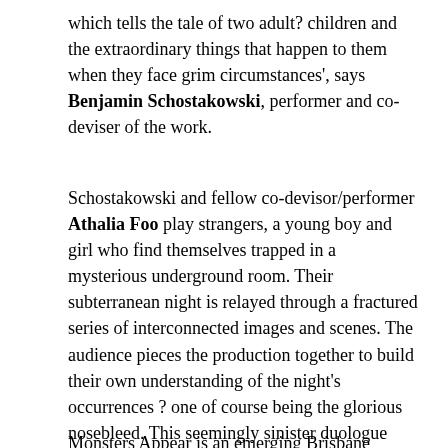which tells the tale of two adult? children and the extraordinary things that happen to them when they face grim circumstances', says Benjamin Schostakowski, performer and co-deviser of the work.
Schostakowski and fellow co-devisor/performer Athalia Foo play strangers, a young boy and girl who find themselves trapped in a mysterious underground room. Their subterranean night is relayed through a fractured series of interconnected images and scenes. The audience pieces the production together to build their own understanding of the night's occurrences ? one of course being the glorious nosebleed. This seemingly sinister duologue reveals the magical inside world of children's creative minds, exploring time, entrapment, intrigue and escapism.
Monsters Appear is an emerging Brisbane independent